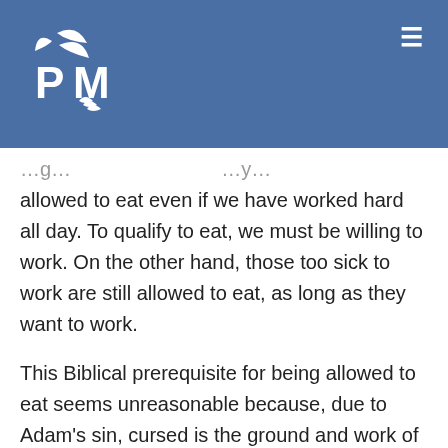[Figure (logo): PM logo with bird/leaf icon in white on blue background, letters P and M]
allowed to eat even if we have worked hard all day. To qualify to eat, we must be willing to work. On the other hand, those too sick to work are still allowed to eat, as long as they want to work.
This Biblical prerequisite for being allowed to eat seems unreasonable because, due to Adam's sin, cursed is the ground and work of all kinds is painful and laborious (Gn 3:17ff). How can we want to do something which will cause us to suffer?
"The love of Christ compels us" (2 Cor 5:14)...